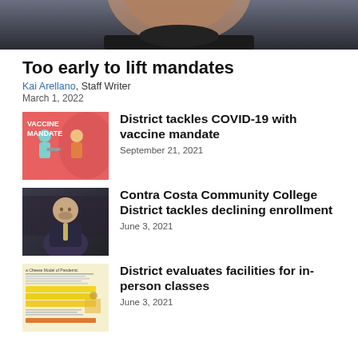[Figure (photo): Top portion of a person's head/face in dark clothing, cropped]
Too early to lift mandates
Kai Arellano, Staff Writer
March 1, 2022
[Figure (illustration): Vaccine mandate graphic with cartoon figures and text 'VACCINE MANDATE']
District tackles COVID-19 with vaccine mandate
September 21, 2021
[Figure (photo): Man in suit and tie, professional headshot against dark background]
Contra Costa Community College District tackles declining enrollment
June 3, 2021
[Figure (screenshot): Document thumbnail with text and yellow/orange highlighted sections]
District evaluates facilities for in-person classes
June 3, 2021